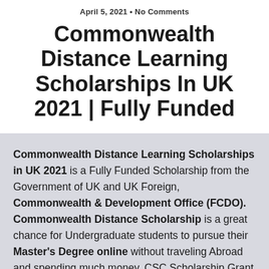April 5, 2021 • No Comments
Commonwealth Distance Learning Scholarships In UK 2021 | Fully Funded
Commonwealth Distance Learning Scholarships in UK 2021 is a Fully Funded Scholarship from the Government of UK and UK Foreign, Commonwealth & Development Office (FCDO). Commonwealth Distance Scholarship is a great chance for Undergraduate students to pursue their Master's Degree online without traveling Abroad and spending much money. CSC Scholarship Grant Scholarship to deserving candidates,